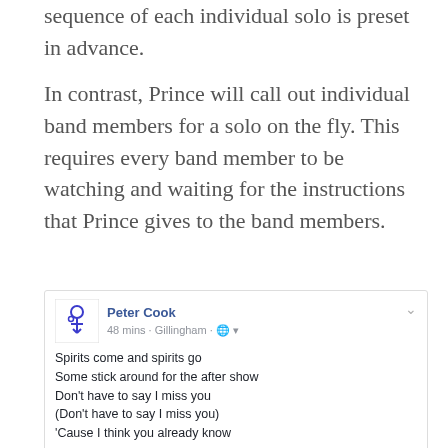sequence of each individual solo is preset in advance.
In contrast, Prince will call out individual band members for a solo on the fly. This requires every band member to be watching and waiting for the instructions that Prince gives to the band members.
[Figure (screenshot): Facebook post by Peter Cook, 48 mins · Gillingham, with Prince symbol avatar. Post contains lyrics: 'Spirits come and spirits go / Some stick around for the after show / Don't have to say I miss you / (Don't have to say I miss you) / 'Cause I think you already know / If you ever lose someone / Dear to you / Never say the words, they're gone / They'll come back, yeah / They'll come back, yeah yeah / They'll come back / Tears go here'. Below text is a purple/dark image.]